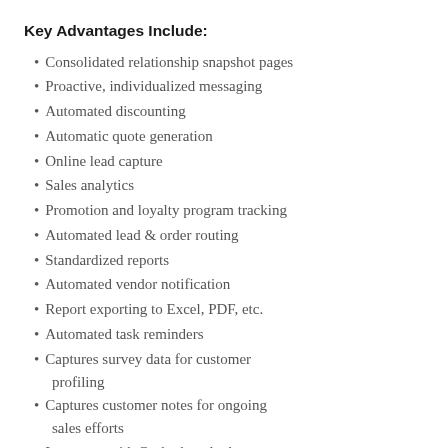Key Advantages Include:
Consolidated relationship snapshot pages
Proactive, individualized messaging
Automated discounting
Automatic quote generation
Online lead capture
Sales analytics
Promotion and loyalty program tracking
Automated lead & order routing
Standardized reports
Automated vendor notification
Report exporting to Excel, PDF, etc.
Automated task reminders
Captures survey data for customer profiling
Captures customer notes for ongoing sales efforts
Integrates with Outlook and other